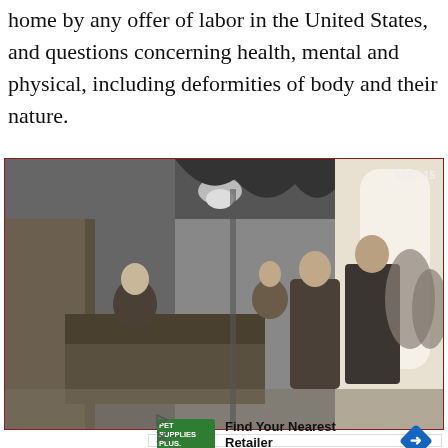home by any offer of labor in the United States, and questions concerning health, mental and physical, including deformities of body and their nature.
[Figure (photo): Black and white historical photograph showing an immigration inspection scene, likely at Ellis Island. A seated official examines immigrants at a desk. Several people including a woman and a man stand waiting. The room has hanging pendant lights and large arched windows in the background. A catalog number '5202-15' is visible in the upper right corner.]
[Figure (other): Advertisement for Pet Supplies Plus. Shows the Pet Supplies Plus logo in green, text 'Find Your Nearest Retailer' and 'Petsuppliesplus.com' in blue, and a blue diamond-shaped arrow icon.]